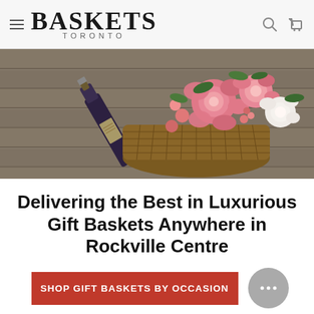BASKETS TORONTO
[Figure (photo): A wicker gift basket containing a wine bottle and a bouquet of pink and white roses with decorative berries, set against a wooden plank background.]
Delivering the Best in Luxurious Gift Baskets Anywhere in Rockville Centre
SHOP GIFT BASKETS BY OCCASION